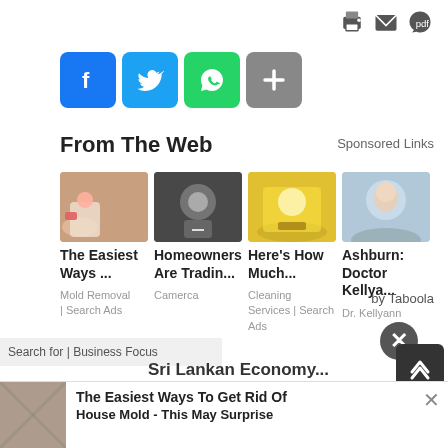[Figure (infographic): Social share icons: Facebook (blue), Twitter (blue), WhatsApp (green), Share (+) (grey)]
From The Web
Sponsored Links
[Figure (infographic): Four sponsored ad thumbnails in a row]
The Easiest Ways ...
Mold Removal | Search Ads
Homeowners Are Tradin...
Camerca
Here's How Much...
Cleaning Services | Search Ads
Ashburn: Doctor Kellya...
Dr. Kellyann
by Taboola
Sri Lankan Economy
The Easiest Ways To Get Rid Of House Mold - This May Surprise